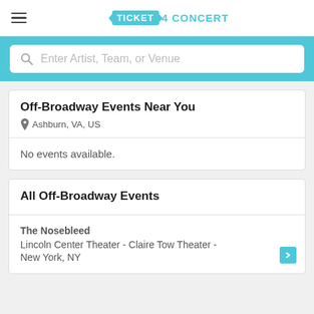Ticket 4 Concert
Enter Artist, Team, or Venue
Off-Broadway Events Near You
Ashburn, VA, US
No events available.
All Off-Broadway Events
The Nosebleed
Lincoln Center Theater - Claire Tow Theater - New York, NY